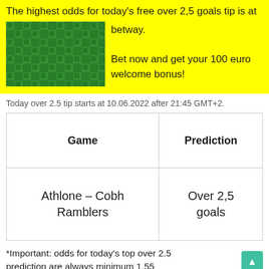The highest odds for today's free over 2,5 goals tip is at betway. Bet now and get your 100 euro welcome bonus!
Today over 2.5 tip starts at 10.06.2022 after 21:45 GMT+2.
| Game | Prediction |
| --- | --- |
| Athlone – Cobh Ramblers | Over 2,5 goals |
*Important: odds for today's top over 2.5 prediction are always minimum 1.55